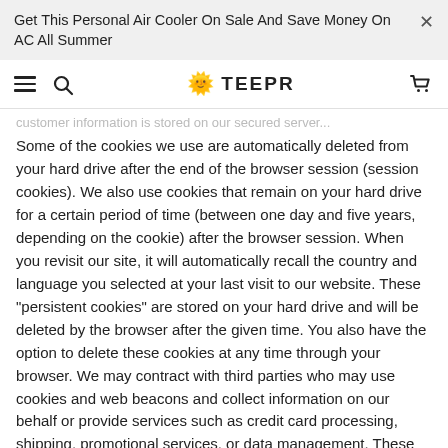Get This Personal Air Cooler On Sale And Save Money On AC All Summer  ×
≡  🔍  🌟TEEPR  🛒
customer information is stored on our secured server...
Some of the cookies we use are automatically deleted from your hard drive after the end of the browser session (session cookies). We also use cookies that remain on your hard drive for a certain period of time (between one day and five years, depending on the cookie) after the browser session. When you revisit our site, it will automatically recall the country and language you selected at your last visit to our website. These "persistent cookies" are stored on your hard drive and will be deleted by the browser after the given time. You also have the option to delete these cookies at any time through your browser. We may contract with third parties who may use cookies and web beacons and collect information on our behalf or provide services such as credit card processing, shipping, promotional services, or data management. These third parties are prohibited by our contract with them from sharing that information